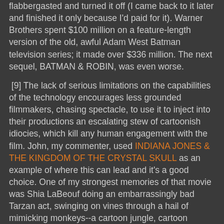flabbergasted and turned it off (I came back to it later and finished it only because I'd paid for it). Warner Brothers spent $100 million on a feature-length version of the old, awful Adam West Batman television series; it made over $336 million. The next sequel, BATMAN & ROBIN, was even worse.

 [9] The lack of serious limitations on the capabilities of the technology encourages less grounded filmmakers, chasing spectacle, to use it to inject into their productions an escalating stew of cartoonish idiocies, which kill any human engagement with the film. John, my commenter, used INDIANA JONES & THE KINGDOM OF THE CRYSTAL SKULL as an example of where this can lead and it's a good choice. One of my strongest memories of that movie was Shia LaBeouf doing an embarrassingly bad Tarzan act, swinging on vines through a hail of mimicking monkeys--a cartoon jungle, cartoon monkeys, a brainless, unengaging--even anti-engaging--sequence that actively alienates everyone not predisposed to ooh-and-aah over such asininity. John chose the film's swordfight, carried out through the jungle on the backs of two moving jeeps